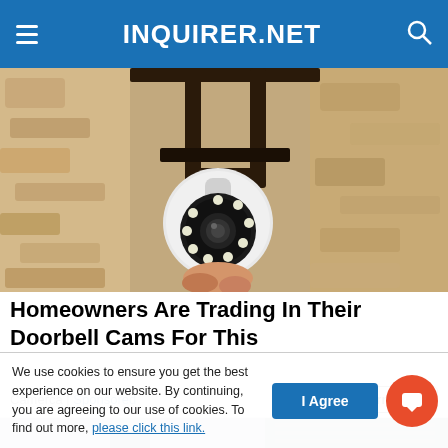INQUIRER.NET
[Figure (photo): Security camera mounted on a wall with a light bulb-style housing and LED ring, attached to a black bracket against a rough stone/stucco wall.]
Homeowners Are Trading In Their Doorbell Cams For This
Camerca | Sponsored
Learn More
[Figure (photo): Partial view of a person in a blue jacket leaning forward, and on the right side a rack of electronic equipment/cables on a wall.]
We use cookies to ensure you get the best experience on our website. By continuing, you are agreeing to our use of cookies. To find out more, please click this link.